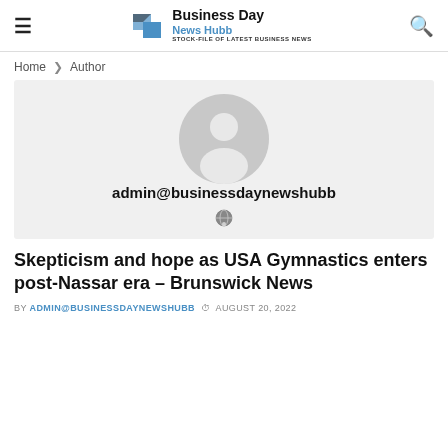Business Day News Hubb — STOCK-FILE OF LATEST BUSINESS NEWS
Home > Author
[Figure (illustration): Author profile box with generic avatar icon and email address admin@businessdaynewshubb, plus a globe icon below]
Skepticism and hope as USA Gymnastics enters post-Nassar era – Brunswick News
BY ADMIN@BUSINESSDAYNEWSHUBB  AUGUST 20, 2022